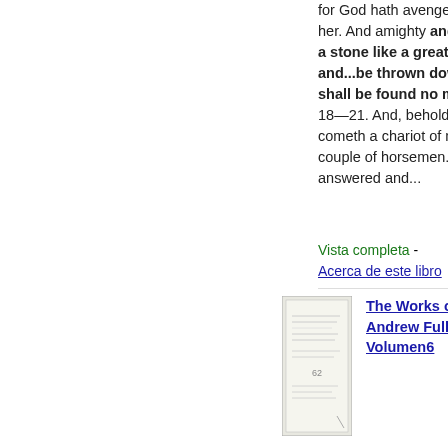for God hath avenged you on her. And amighty angel took up a stone like a great millstone, and...be thrown down, and shall be found no more at all, 18—21. And, behold, here cometh a chariot of men, with a couple of horsemen. And he answered and...
Vista completa - Acerca de este libro
[Figure (illustration): Small thumbnail image of a book cover]
The Works of the Rev. Andrew Fuller, Volumen6